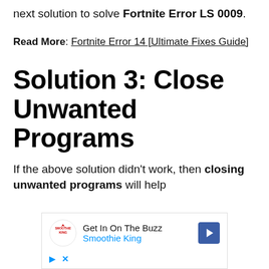next solution to solve Fortnite Error LS 0009.
Read More: Fortnite Error 14 [Ultimate Fixes Guide]
Solution 3: Close Unwanted Programs
If the above solution didn't work, then closing unwanted programs will help
[Figure (other): Advertisement banner for Smoothie King with logo, text 'Get In On The Buzz Smoothie King', a navigation arrow icon, and ad controls (play and close buttons).]